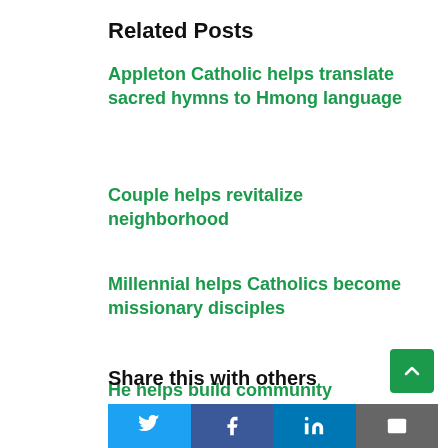Related Posts
Appleton Catholic helps translate sacred hymns to Hmong language
Couple helps revitalize neighborhood
Millennial helps Catholics become missionary disciples
He helps build community
Share this with others